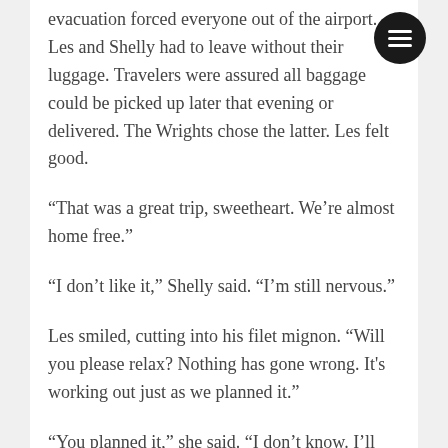evacuation forced everyone out of the airport. Les and Shelly had to leave without their luggage. Travelers were assured all baggage could be picked up later that evening or delivered. The Wrights chose the latter. Les felt good.
“That was a great trip, sweetheart. We’re almost home free.”
“I don’t like it,” Shelly said. “I’m still nervous.”
Les smiled, cutting into his filet mignon. “Will you please relax? Nothing has gone wrong. It's working out just as we planned it.”
“You planned it,” she said. “I don’t know. I’ll feel a lot better when we have the jewelry in hand. I